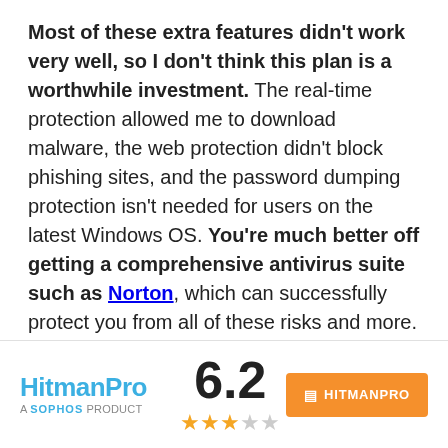Most of these extra features didn't work very well, so I don't think this plan is a worthwhile investment. The real-time protection allowed me to download malware, the web protection didn't block phishing sites, and the password dumping protection isn't needed for users on the latest Windows OS. You're much better off getting a comprehensive antivirus suite such as Norton, which can successfully protect you from all of these risks and more.

But there's a free 30-day trial of HitmanPro.Alert, so you can give it a try and decide for yourself if it's
[Figure (logo): HitmanPro logo with 'A SOPHOS PRODUCT' tagline, score 6.2 with 3 filled stars and 2 empty stars, and an orange button labeled HITMANPRO]